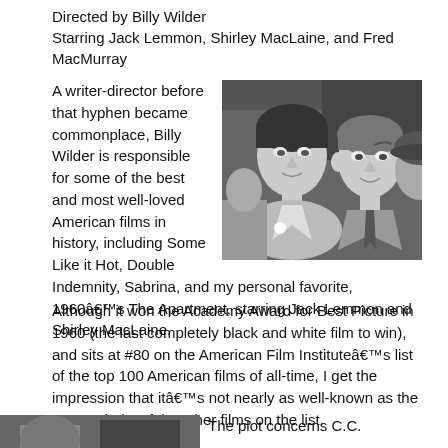Directed by Billy Wilder
Starring Jack Lemmon, Shirley MacLaine, and Fred MacMurray
[Figure (photo): Black and white still from The Apartment (1960) showing Shirley MacLaine and Jack Lemmon in a crowd scene]
A writer-director before that hyphen became commonplace, Billy Wilder is responsible for some of the best and most well-loved American films in history, including Some Like it Hot, Double Indemnity, Sabrina, and my personal favorite, 1960’s The Apartment, starring Jack Lemmon and Shirley MacLaine.
Although it won the Academy Award for Best Picture in 1960 (the last completely black and white film to win), and sits at #80 on the American Film Institute’s list of the top 100 American films of all-time, I get the impression that it’s not nearly as well-known as the vast majority of the other films on the list.
[Figure (photo): Black and white still from The Apartment showing a scene, partially visible at bottom of page]
The plot concerns C.C.